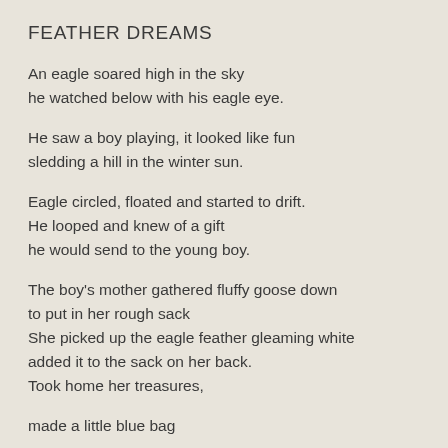FEATHER DREAMS
An eagle soared high in the sky
he watched below with his eagle eye.
He saw a boy playing, it looked like fun
sledding a hill in the winter sun.
Eagle circled, floated and started to drift.
He looped and knew of a gift
he would send to the young boy.
The boy's mother gathered fluffy goose down
to put in her rough sack
She picked up the eagle feather gleaming white
added it to the sack on her back.
Took home her treasures,
made a little blue bag
then put the feathers in
to make a pillow for her son.